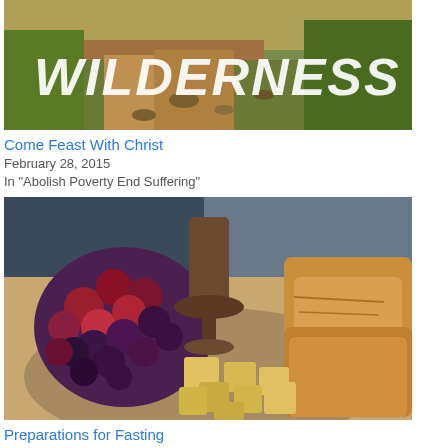[Figure (photo): Wilderness landscape photo with rocky path and vegetation, overlaid with large handwritten-style text 'WILDERNESS' in white]
Come Feast With Christ
February 28, 2015
In "Abolish Poverty End Suffering"
[Figure (photo): Photo of a plate with grapes, cheese cubes, bread, and a dark clay goblet/chalice in background]
Preparations for Fasting
February 17, 2015